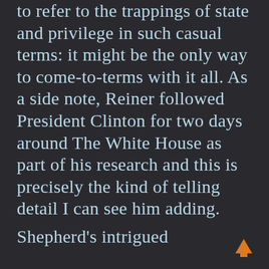to refer to the trappings of state and privilege in such casual terms: it might be the only way to come-to-terms with it all. As a side note, Reiner followed President Clinton for two days around The White House as part of his research and this is precisely the kind of telling detail I can see him adding.
Shepherd's intrigued